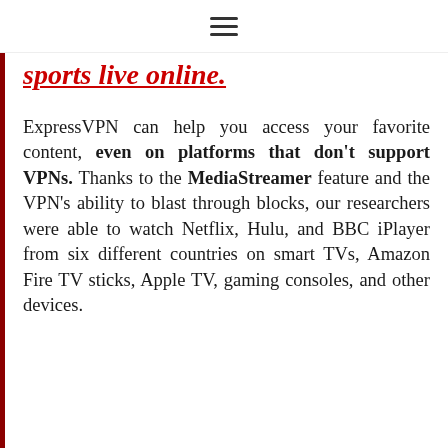≡
sports live online.
ExpressVPN can help you access your favorite content, even on platforms that don't support VPNs. Thanks to the MediaStreamer feature and the VPN's ability to blast through blocks, our researchers were able to watch Netflix, Hulu, and BBC iPlayer from six different countries on smart TVs, Amazon Fire TV sticks, Apple TV, gaming consoles, and other devices.